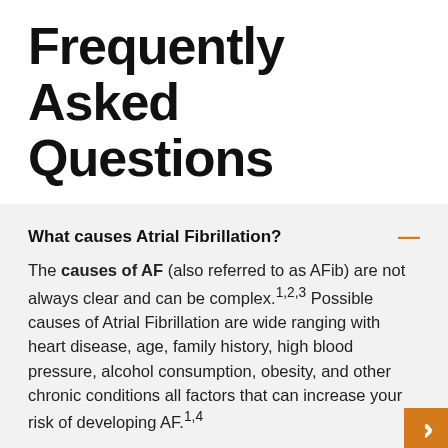Frequently Asked Questions
What causes Atrial Fibrillation?
The causes of AF (also referred to as AFib) are not always clear and can be complex.1,2,3 Possible causes of Atrial Fibrillation are wide ranging with heart disease, age, family history, high blood pressure, alcohol consumption, obesity, and other chronic conditions all factors that can increase your risk of developing AF.1,4